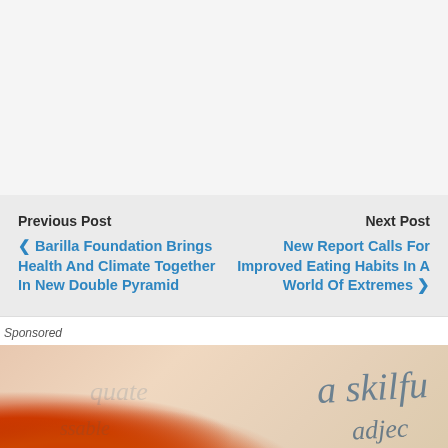Previous Post
❮ Barilla Foundation Brings Health And Climate Together In New Double Pyramid
Next Post
New Report Calls For Improved Eating Habits In A World Of Extremes ❯
Sponsored
[Figure (photo): Sponsored advertisement image showing red/orange paper clips or pins in foreground with blurred dictionary or text in background showing words like 'adequate', 'able', 'adve']